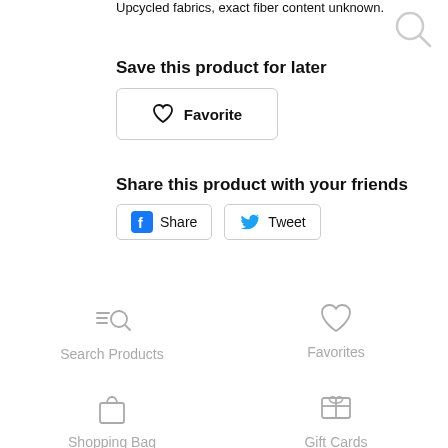Upcycled fabrics, exact fiber content unknown.
[Figure (illustration): Search magnifying glass icon in top right corner]
Save this product for later
[Figure (illustration): Favorite button with heart icon and text 'Favorite']
Share this product with your friends
[Figure (illustration): Facebook Share button and Twitter Tweet button]
[Figure (illustration): Navigation grid: Search Products (magnifying glass icon), Favorites (heart icon), Shopping Bag (bag icon), Gift Cards (gift card icon)]